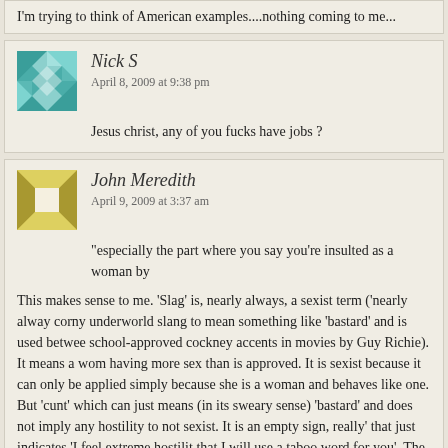I'm trying to think of American examples....nothing coming to me...
Nick S
April 8, 2009 at 9:38 pm
Jesus christ, any of you fucks have jobs ?
John Meredith
April 9, 2009 at 3:37 am
"especially the part where you say you're insulted as a woman by
This makes sense to me. 'Slag' is, nearly always, a sexist term ('nearly alway... corny underworld slang to mean something like 'bastard' and is used between... school-approved cockney accents in movies by Guy Richie). It means a wom... having more sex than is approved. It is sexist because it can only be applied... simply because she is a woman and behaves like one. But 'cunt' which can ... just means (in its sweary sense) 'bastard' and does not imply any hostility to... not sexist. It is an empty sign, really' that just indicates 'I feel extreme hostilit... that I will use a taboo word for you'. The owrd itself could be one of doozens... interchangeably.